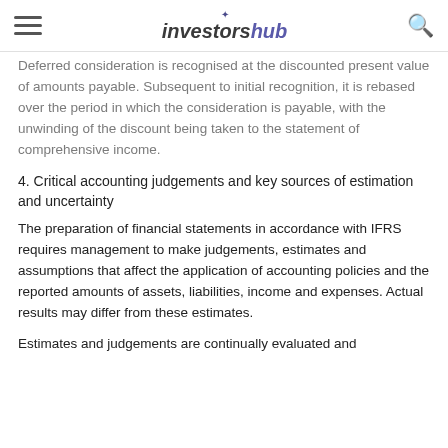investorshub
Deferred consideration is recognised at the discounted present value of amounts payable. Subsequent to initial recognition, it is rebased over the period in which the consideration is payable, with the unwinding of the discount being taken to the statement of comprehensive income.
4. Critical accounting judgements and key sources of estimation and uncertainty
The preparation of financial statements in accordance with IFRS requires management to make judgements, estimates and assumptions that affect the application of accounting policies and the reported amounts of assets, liabilities, income and expenses. Actual results may differ from these estimates.
Estimates and judgements are continually evaluated and